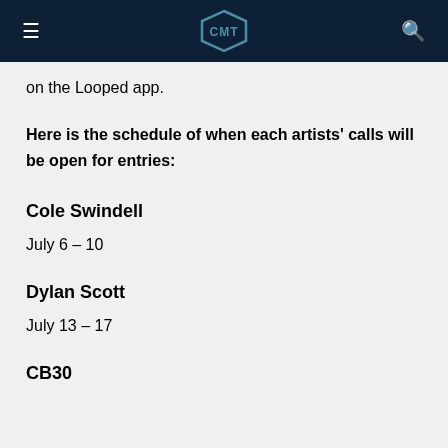CMT
on the Looped app.
Here is the schedule of when each artists' calls will be open for entries:
Cole Swindell
July 6 – 10
Dylan Scott
July 13 – 17
CB30